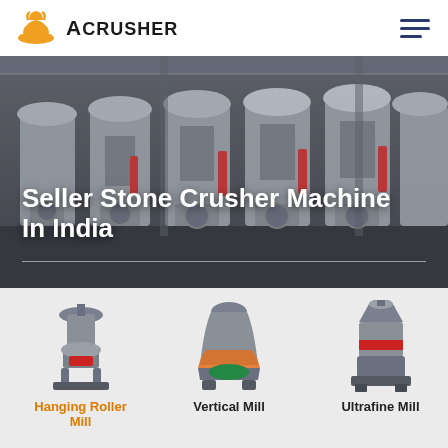ACRUSHER
[Figure (photo): Industrial factory floor showing multiple large stone crusher machines in a row, grey/white machinery with hydraulic components]
Seller Stone Crusher Machine In India
[Figure (photo): Hanging Roller Mill machine product photo on light grey background]
Hanging Roller Mill
[Figure (photo): Vertical Mill machine product photo on light grey background]
Vertical Mill
[Figure (photo): Ultrafine Mill machine product photo on light grey background]
Ultrafine Mill